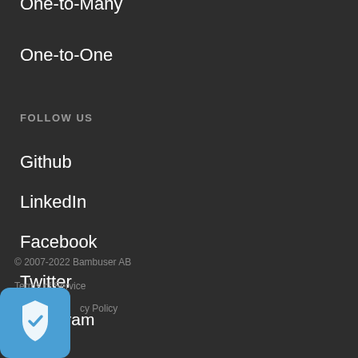One-to-Many
One-to-One
FOLLOW US
Github
LinkedIn
Facebook
Twitter
Instagram
© 2007-2022 Bambuser AB
Terms of Service
cy Policy